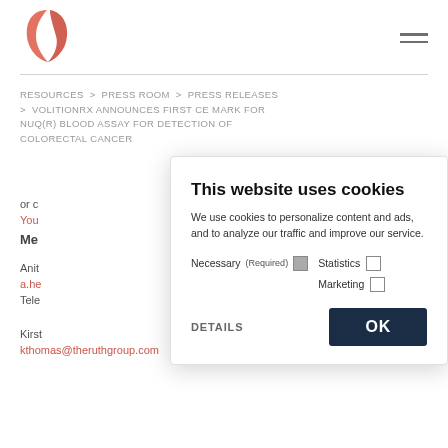[Figure (logo): VolitonRx logo - red/coral leaf shape]
RESOURCES  >  PRESS ROOM  >  PRESS RELEASES  >  VOLITIONRX ANNOUNCES FIRST CE MARK FOR NUQ(R) BLOOD ASSAY FOR DETECTION OF COLORECTAL CANCER
or c...
You...
Me...
Anit...
a.he...
Tele...
Kirst
kthomas@theruthgroup.com
This website uses cookies
We use cookies to personalize content and ads, and to analyze our traffic and improve our service.
Necessary (Required) [checked] Statistics [ ] Marketing [ ]
DETAILS  OK